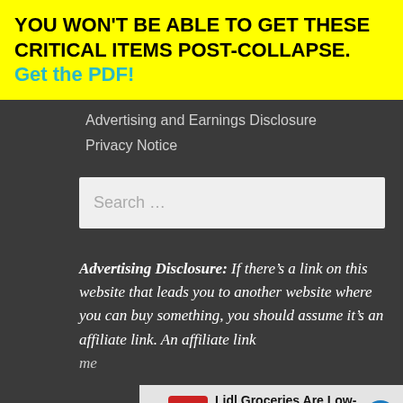YOU WON'T BE ABLE TO GET THESE CRITICAL ITEMS POST-COLLAPSE. Get the PDF!
Advertising and Earnings Disclosure
Privacy Notice
Search …
Advertising Disclosure: If there's a link on this website that leads you to another website where you can buy something, you should assume it's an affiliate link. An affiliate link me…
[Figure (other): Lidl Groceries Are Low-Priced advertisement banner with Lidl logo and blue arrow icon]